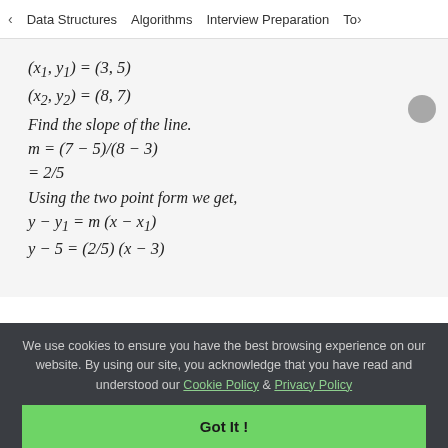< Data Structures   Algorithms   Interview Preparation   Top>
Find the slope of the line.
Using the two point form we get,
We use cookies to ensure you have the best browsing experience on our website. By using our site, you acknowledge that you have read and understood our Cookie Policy & Privacy Policy
Got It !